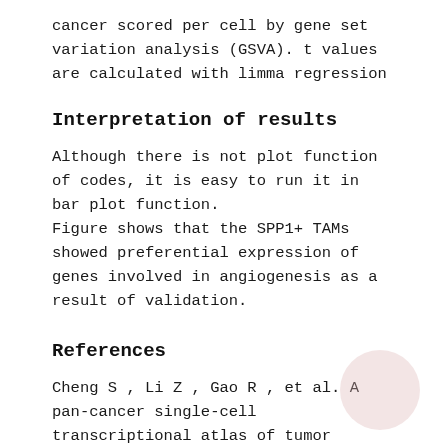cancer scored per cell by gene set variation analysis (GSVA). t values are calculated with limma regression
Interpretation of results
Although there is not plot function of codes, it is easy to run it in bar plot function.
Figure shows that the SPP1+ TAMs showed preferential expression of genes involved in angiogenesis as a result of validation.
References
Cheng S , Li Z , Gao R , et al. A pan-cancer single-cell transcriptional atlas of tumor infiltrating myeloid cells[1]. Cell 2021, 184(3):792-809.e23.